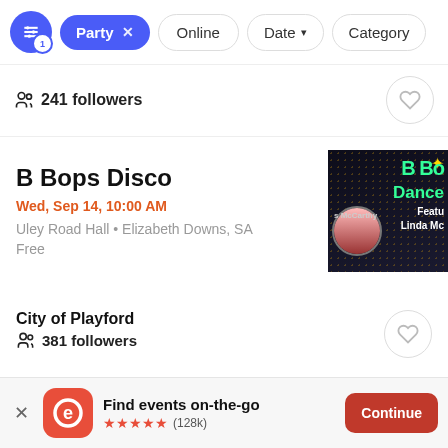Party x  Online  Date  Category
241 followers
B Bops Disco
Wed, Sep 14, 10:00 AM
Uley Road Hall • Elizabeth Downs, SA
Free
[Figure (photo): B Bops Disco event poster showing green text 'B Bo' and 'Dance' on dark dotted background with person dancing]
City of Playford
381 followers
Find events on-the-go ★★★★★ (128k)  Continue